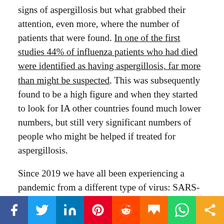signs of aspergillosis but what grabbed their attention, even more, where the number of patients that were found. In one of the first studies 44% of influenza patients who had died were identified as having aspergillosis, far more than might be suspected. This was subsequently found to be a high figure and when they started to look for IA other countries found much lower numbers, but still very significant numbers of people who might be helped if treated for aspergillosis.
Since 2019 we have all been experiencing a pandemic from a different type of virus: SARS-CoV-2 that has so far killed over 2 million people globally. This virus also damages the lung tissue of patients experiencing severe symptoms so researchers started to test these new patients for signs of